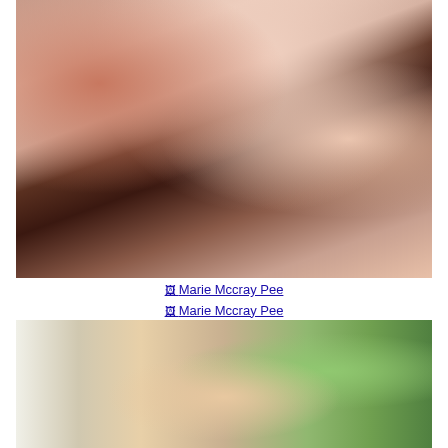[Figure (photo): Close-up photo showing a person with red hair against a dark brown patterned fabric/textile background]
Marie Mccray Pee
Marie Mccray Pee
[Figure (photo): Photo of a blonde woman outdoors with green foliage in the background]